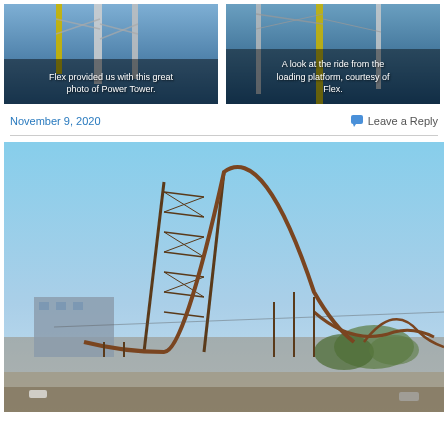[Figure (photo): Upward-looking photo of Power Tower ride structure with colored struts against blue sky, with caption 'Flex provided us with this great photo of Power Tower.']
[Figure (photo): Upward-looking photo of ride structure from loading platform against blue sky, with caption 'A look at the ride from the loading platform, courtesy of Flex.']
November 9, 2020
Leave a Reply
[Figure (photo): Wide outdoor photo of a large roller coaster with tall lift hill and curved track, set against a clear blue sky with trees and buildings in the background.]